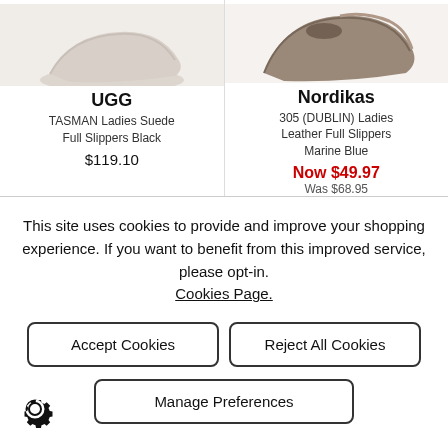[Figure (photo): UGG slipper shoe partial image, light grey background]
UGG
TASMAN Ladies Suede Full Slippers Black
$119.10
[Figure (photo): Nordikas slipper shoe, brown/tan leather, marine blue, partial image]
Nordikas
305 (DUBLIN) Ladies Leather Full Slippers Marine Blue
Now $49.97
Was $68.95
This site uses cookies to provide and improve your shopping experience. If you want to benefit from this improved service, please opt-in. Cookies Page.
Accept Cookies
Reject All Cookies
Manage Preferences